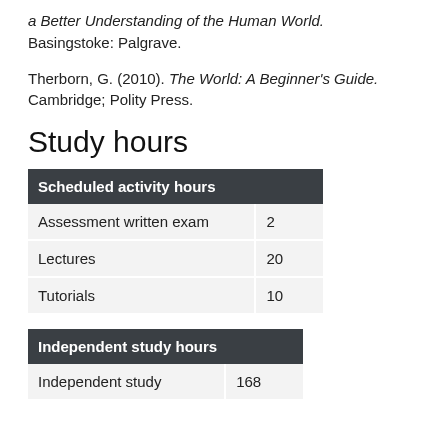a Better Understanding of the Human World. Basingstoke: Palgrave.
Therborn, G. (2010). The World: A Beginner's Guide. Cambridge; Polity Press.
Study hours
| Scheduled activity hours |  |
| --- | --- |
| Assessment written exam | 2 |
| Lectures | 20 |
| Tutorials | 10 |
| Independent study hours |  |
| --- | --- |
| Independent study | 168 |